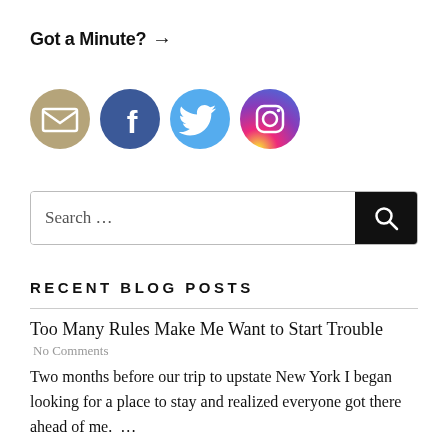Got a Minute? →
[Figure (infographic): Four social media icon circles: email (tan/gold), Facebook (blue), Twitter (light blue), Instagram (gradient purple-orange)]
Search ...
RECENT BLOG POSTS
Too Many Rules Make Me Want to Start Trouble
No Comments
Two months before our trip to upstate New York I began looking for a place to stay and realized everyone got there ahead of me.  ...